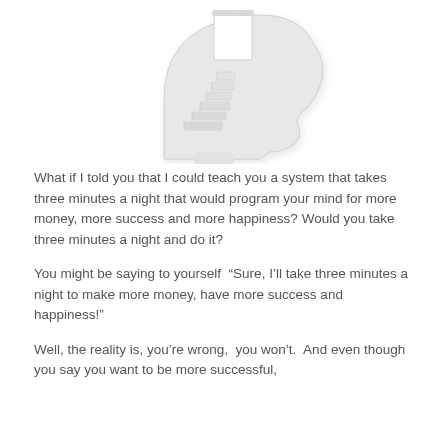[Figure (illustration): 3D white/light-gray illustration of a human head silhouette (profile facing right) with a staircase inside leading upward through an open doorway at the top of the head, representing mind programming or mental growth.]
What if I told you that I could teach you a system that takes three minutes a night that would program your mind for more money, more success and more happiness? Would you take three minutes a night and do it?
You might be saying to yourself “Sure, I’ll take three minutes a night to make more money, have more success and happiness!”
Well, the reality is, you’re wrong, you won’t. And even though you say you want to be more successful,